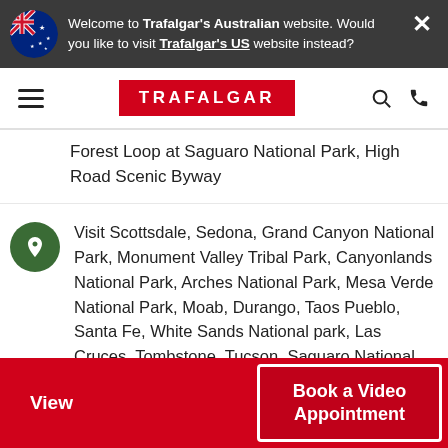Welcome to Trafalgar's Australian website. Would you like to visit Trafalgar's US website instead?
[Figure (logo): Trafalgar logo in red rectangle with white text]
Forest Loop at Saguaro National Park, High Road Scenic Byway
Visit Scottsdale, Sedona, Grand Canyon National Park, Monument Valley Tribal Park, Canyonlands National Park, Arches National Park, Mesa Verde National Park, Moab, Durango, Taos Pueblo, Santa Fe, White Sands National park, Las Cruces, Tombstone, Tucson, Saguaro National Park
View
Book a Video Appointment